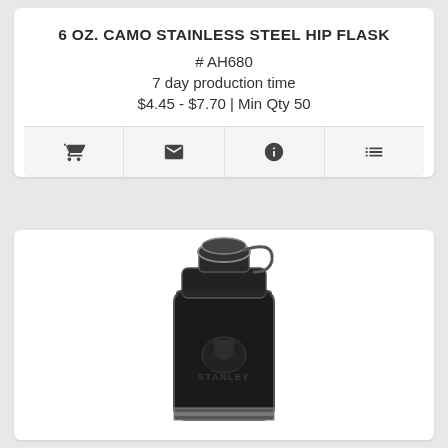6 OZ. CAMO STAINLESS STEEL HIP FLASK
# AH680
7 day production time
$4.45 - $7.70 | Min Qty 50
[Figure (other): Four icon buttons in a row: shopping cart, envelope/email, info circle, list/menu]
[Figure (photo): Photo of a black Stanley branded stainless steel hip flask with hinged cap]
STANLEY® CLASSIC EASY FILL WIDE MOUTH FLASK 8OZ